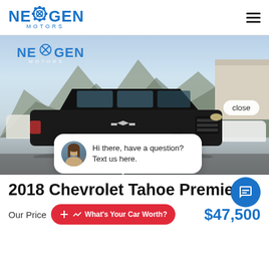NexGen Motors
[Figure (photo): Black 2018 Chevrolet Tahoe Premier SUV parked at NexGen Motors dealership lot with mountains in background. A chat widget overlay shows a female agent avatar with text 'Hi there, have a question? Text us here.' and a 'close' button.]
2018 Chevrolet Tahoe Premier
Our Price    What's Your Car Worth?    $47,500